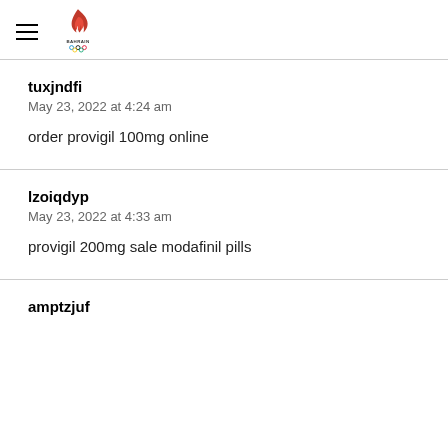Bahrain Olympic Committee
tuxjndfi
May 23, 2022 at 4:24 am
order provigil 100mg online
lzoiqdyp
May 23, 2022 at 4:33 am
provigil 200mg sale modafinil pills
amptzjuf